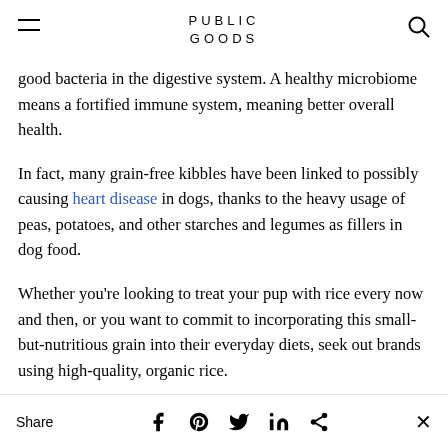PUBLIC GOODS
good bacteria in the digestive system. A healthy microbiome means a fortified immune system, meaning better overall health.
In fact, many grain-free kibbles have been linked to possibly causing heart disease in dogs, thanks to the heavy usage of peas, potatoes, and other starches and legumes as fillers in dog food.
Whether you’re looking to treat your pup with rice every now and then, or you want to commit to incorporating this small-but-nutritious grain into their everyday diets, seek out brands using high-quality, organic rice.
Share